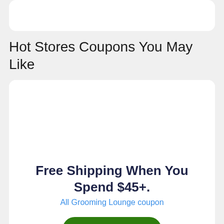Hot Stores Coupons You May Like
Free Shipping When You Spend $45+.
All Grooming Lounge coupon
Get Offer